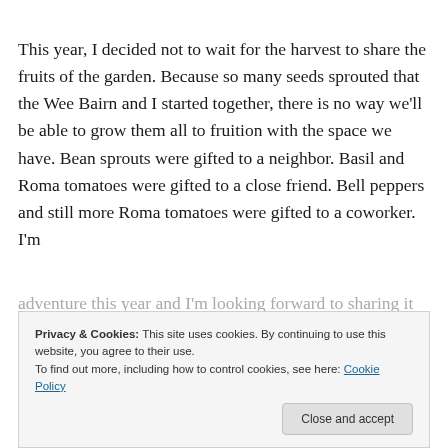This year, I decided not to wait for the harvest to share the fruits of the garden. Because so many seeds sprouted that the Wee Bairn and I started together, there is no way we'll be able to grow them all to fruition with the space we have. Bean sprouts were gifted to a neighbor. Basil and Roma tomatoes were gifted to a close friend. Bell peppers and still more Roma tomatoes were gifted to a coworker. I'm
Privacy & Cookies: This site uses cookies. By continuing to use this website, you agree to their use. To find out more, including how to control cookies, see here: Cookie Policy
adventure this year and I'm looking forward to sharing it